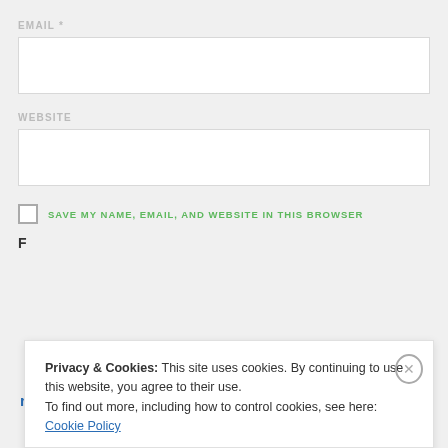EMAIL *
WEBSITE
SAVE MY NAME, EMAIL, AND WEBSITE IN THIS BROWSER
Privacy & Cookies: This site uses cookies. By continuing to use this website, you agree to their use.
To find out more, including how to control cookies, see here:
Cookie Policy
Close and accept